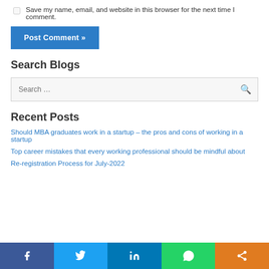Save my name, email, and website in this browser for the next time I comment.
Post Comment »
Search Blogs
Search …
Recent Posts
Should MBA graduates work in a startup – the pros and cons of working in a startup
Top career mistakes that every working professional should be mindful about
Re-registration Process for July-2022
Facebook | Twitter | LinkedIn | WhatsApp | Share